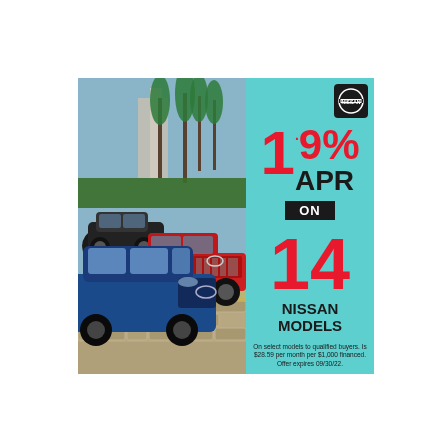[Figure (photo): Three Nissan vehicles (black SUV, red pickup truck, blue crossover SUV) parked on a cobblestone street with palm trees and buildings in the background.]
1.9% APR ON 14 NISSAN MODELS
[Figure (logo): Nissan logo in white on black square background]
On select models to qualified buyers. Is $28.59 per month per $1,000 financed. Offer expires 09/30/22.